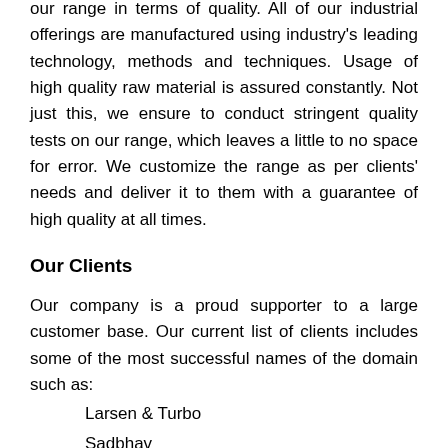our range in terms of quality. All of our industrial offerings are manufactured using industry's leading technology, methods and techniques. Usage of high quality raw material is assured constantly. Not just this, we ensure to conduct stringent quality tests on our range, which leaves a little to no space for error. We customize the range as per clients' needs and deliver it to them with a guarantee of high quality at all times.
Our Clients
Our company is a proud supporter to a large customer base. Our current list of clients includes some of the most successful names of the domain such as:
Larsen & Turbo
Sadbhav
NCC Infra